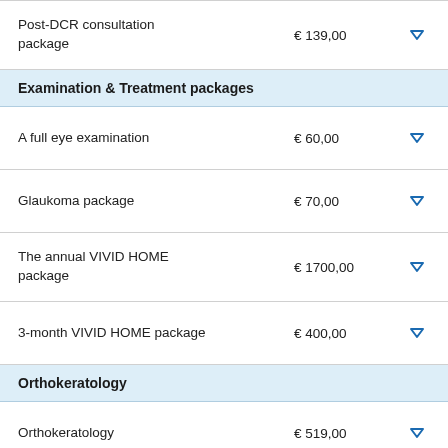Post-DCR consultation package  € 139,00
Examination & Treatment packages
A full eye examination  € 60,00
Glaukoma package  € 70,00
The annual VIVID HOME package  € 1700,00
3-month VIVID HOME package  € 400,00
Orthokeratology
Orthokeratology  € 519,00
VIEW FULL PRICE LIST